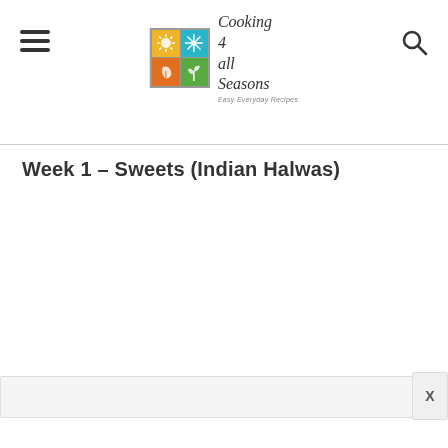Cooking 4 all Seasons - Easy Everyday Recipes
Week 1 – Sweets (Indian Halwas)